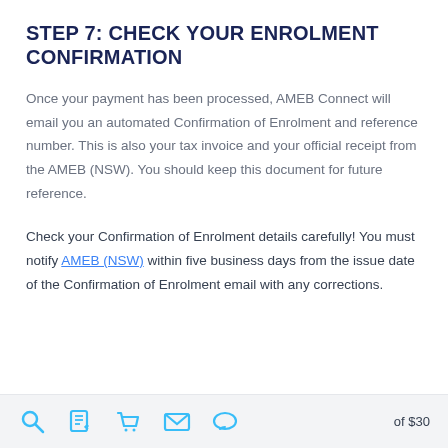STEP 7: CHECK YOUR ENROLMENT CONFIRMATION
Once your payment has been processed, AMEB Connect will email you an automated Confirmation of Enrolment and reference number. This is also your tax invoice and your official receipt from the AMEB (NSW). You should keep this document for future reference.
Check your Confirmation of Enrolment details carefully! You must notify AMEB (NSW) within five business days from the issue date of the Confirmation of Enrolment email with any corrections.
of $30